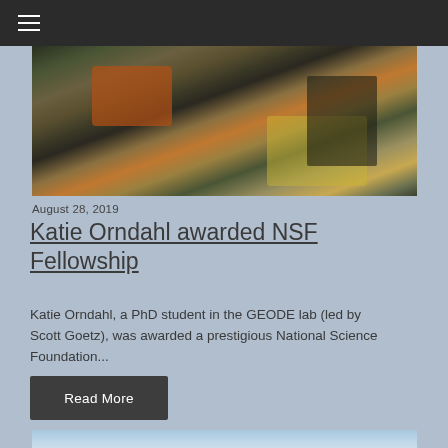≡
[Figure (photo): Photo of a person lying in a tent with camping gear, equipment bags, and a red camping stove visible]
August 28, 2019
Katie Orndahl awarded NSF Fellowship
Katie Orndahl, a PhD student in the GEODE lab (led by Scott Goetz), was awarded a prestigious National Science Foundation...
Read More
[Figure (photo): Partial photo visible at bottom of page, showing sky and landscape]